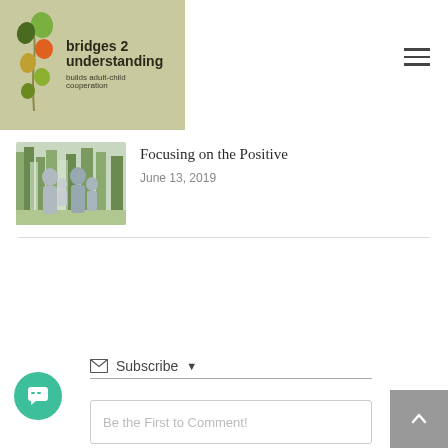[Figure (logo): Bridges 2 Understanding logo on olive-green background with stylized plant/balloon illustration, text: 'bridges 2 understanding builds adult-child cooperation']
[Figure (photo): Photo of a family viewed from behind, standing in a wooded area]
Focusing on the Positive
June 13, 2019
Subscribe
Be the First to Comment!